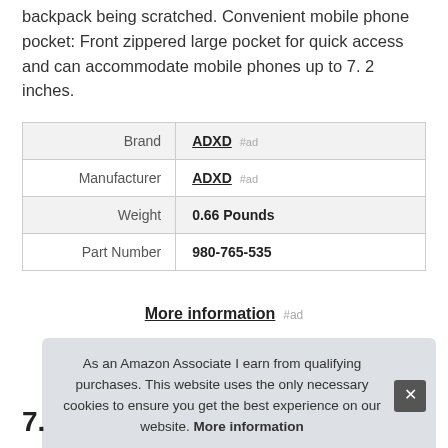backpack being scratched. Convenient mobile phone pocket: Front zippered large pocket for quick access and can accommodate mobile phones up to 7. 2 inches.
|  |  |
| --- | --- |
| Brand | ADXD #ad |
| Manufacturer | ADXD #ad |
| Weight | 0.66 Pounds |
| Part Number | 980-765-535 |
More information #ad
As an Amazon Associate I earn from qualifying purchases. This website uses the only necessary cookies to ensure you get the best experience on our website. More information
7.